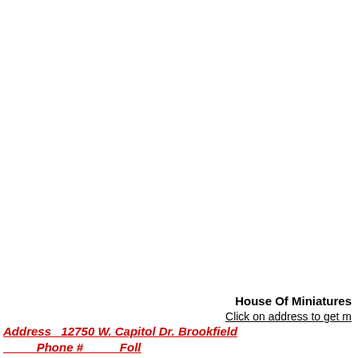House Of Miniatures
Click on address to get m
Address   12750 W. Capitol Dr. Brookfield
Phone #          Foll